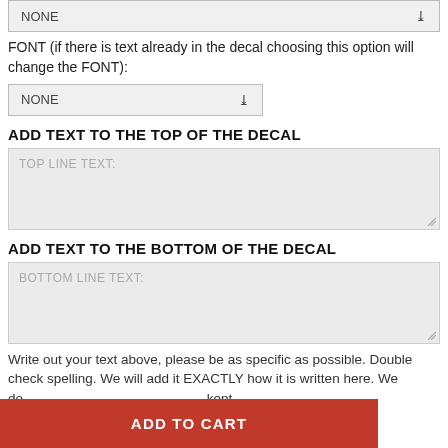[Figure (screenshot): A dropdown select box showing 'NONE' with a chevron, clipped at top]
FONT (if there is text already in the decal choosing this option will change the FONT):
[Figure (screenshot): A dropdown select box showing 'NONE' with a chevron for font selection]
ADD TEXT TO THE TOP OF THE DECAL
[Figure (screenshot): A large text area with placeholder text 'TOP LINE TEXT:']
ADD TEXT TO THE BOTTOM OF THE DECAL
[Figure (screenshot): A large text area with placeholder text 'BOTTOM LINE TEXT:']
Write out your text above, please be as specific as possible. Double check spelling. We will add it EXACTLY how it is written here. We do kept
[Figure (screenshot): Red 'ADD TO CART' button at the bottom]